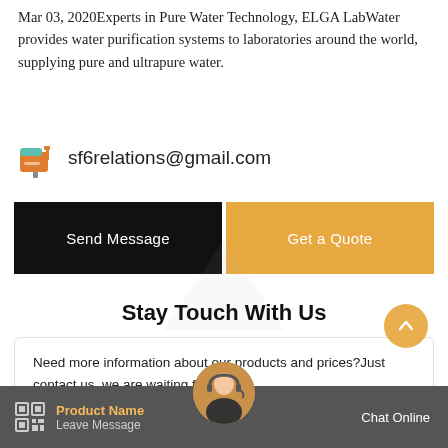Mar 03, 2020Experts in Pure Water Technology, ELGA LabWater provides water purification systems to laboratories around the world, supplying pure and ultrapure water.
sf6relations@gmail.com
Send Message
Get a Quote
Stay Touch With Us
Need more information about our products and prices?Just contact us, we are waiting for you!
Product Name
Leave Message
Chat Online